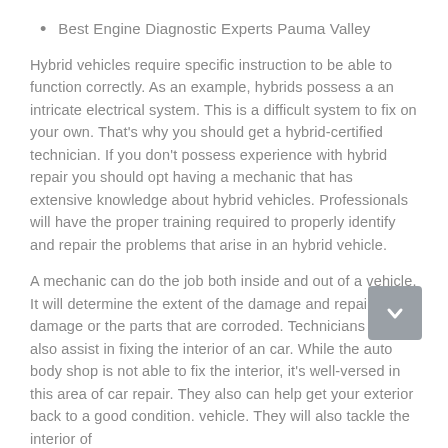Best Engine Diagnostic Experts Pauma Valley
Hybrid vehicles require specific instruction to be able to function correctly. As an example, hybrids possess a an intricate electrical system. This is a difficult system to fix on your own. That's why you should get a hybrid-certified technician. If you don't possess experience with hybrid repair you should opt having a mechanic that has extensive knowledge about hybrid vehicles. Professionals will have the proper training required to properly identify and repair the problems that arise in an hybrid vehicle.
A mechanic can do the job both inside and out of a vehicle. It will determine the extent of the damage and repair any damage or the parts that are corroded. Technicians can also assist in fixing the interior of an car. While the auto body shop is not able to fix the interior, it's well-versed in this area of car repair. They also can help get your exterior back to a good condition. vehicle. They will also tackle the interior of